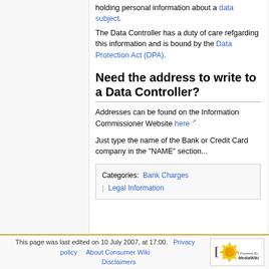holding personal information about a data subject.
The Data Controller has a duty of care refgarding this information and is bound by the Data Protection Act (DPA).
Need the address to write to a Data Controller?
Addresses can be found on the Information Commissioner Website here
Just type the name of the Bank or Credit Card company in the "NAME" section...
Categories:  Bank Charges | Legal Information
This page was last edited on 10 July 2007, at 17:00.  Privacy policy  About Consumer Wiki  Disclaimers